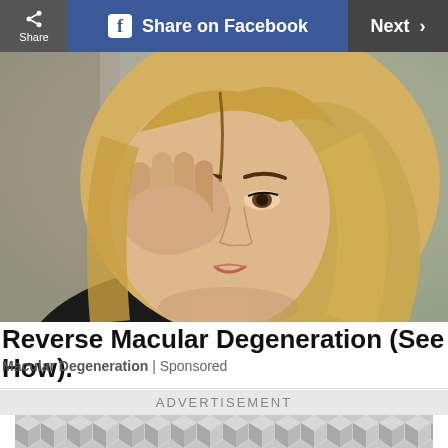[Figure (screenshot): Toolbar with Share button on left (dark gray), Share on Facebook button (blue, with Facebook logo), and Next > button on right (dark gray)]
[Figure (photo): Young blonde woman touching/rubbing her eye with her hand, appearing to have eye discomfort, wearing a dark top, blurred outdoor background]
Reverse Macular Degeneration (See How).
Macular Degeneration | Sponsored
ADVERTISEMENT